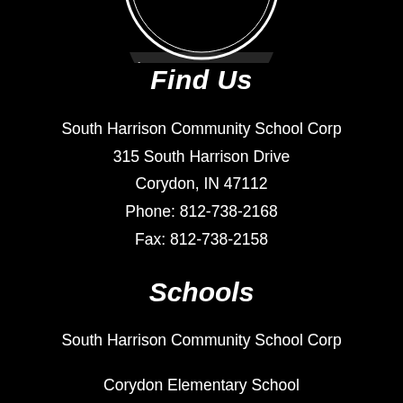[Figure (logo): Partial circular school logo/seal for South Harrison Community School Corporation, white on black, showing bottom arc text and a compass/clock icon]
Find Us
South Harrison Community School Corp
315 South Harrison Drive
Corydon, IN 47112
Phone: 812-738-2168
Fax: 812-738-2158
Schools
South Harrison Community School Corp
Corydon Elementary School